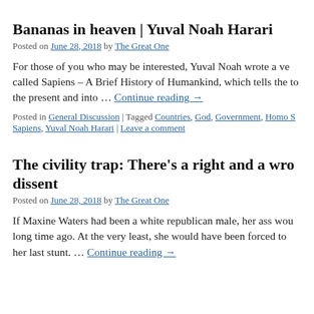Bananas in heaven | Yuval Noah Harari
Posted on June 28, 2018 by The Great One
For those of you who may be interested, Yuval Noah wrote a ve called Sapiens – A Brief History of Humankind, which tells the to the present and into … Continue reading →
Posted in General Discussion | Tagged Countries, God, Government, Homo S Sapiens, Yuval Noah Harari | Leave a comment
The civility trap: There's a right and a wro dissent
Posted on June 28, 2018 by The Great One
If Maxine Waters had been a white republican male, her ass wou long time ago. At the very least, she would have been forced to her last stunt. … Continue reading →